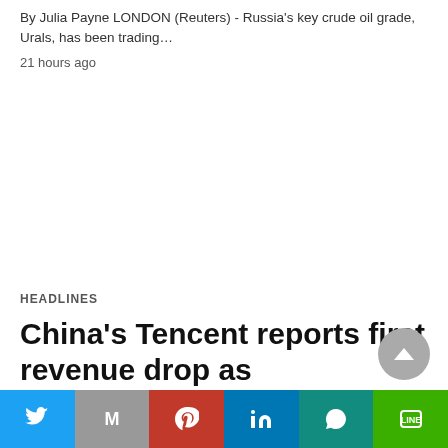By Julia Payne LONDON (Reuters) - Russia's key crude oil grade, Urals, has been trading…
21 hours ago
HEADLINES
China's Tencent reports first revenue drop as